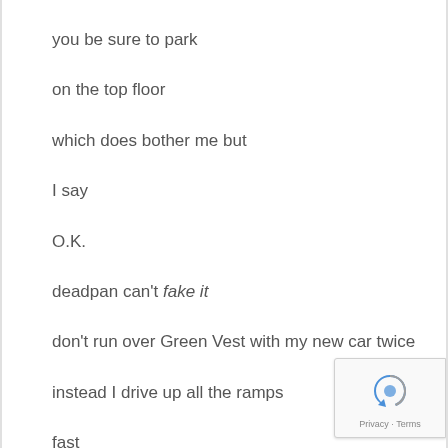you be sure to park
on the top floor
which does bother me but
I say
O.K.
deadpan can't fake it
don't run over Green Vest with my new car twice
instead I drive up all the ramps
fast
[Figure (logo): reCAPTCHA badge with blue/grey arrow logo and Privacy - Terms text]